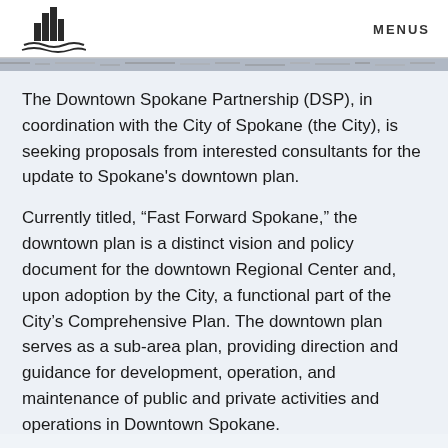MENUS
[Figure (logo): Downtown Spokane Partnership logo: city skyline silhouette with water waves beneath]
The Downtown Spokane Partnership (DSP), in coordination with the City of Spokane (the City), is seeking proposals from interested consultants for the update to Spokane’s downtown plan.
Currently titled, “Fast Forward Spokane,” the downtown plan is a distinct vision and policy document for the downtown Regional Center and, upon adoption by the City, a functional part of the City’s Comprehensive Plan. The downtown plan serves as a sub-area plan, providing direction and guidance for development, operation, and maintenance of public and private activities and operations in Downtown Spokane.
A qualified consultant is to be retained to work with the DSP, stakeholders and citizens to complete a draft update of the vision and policies within the plan for City implementation.